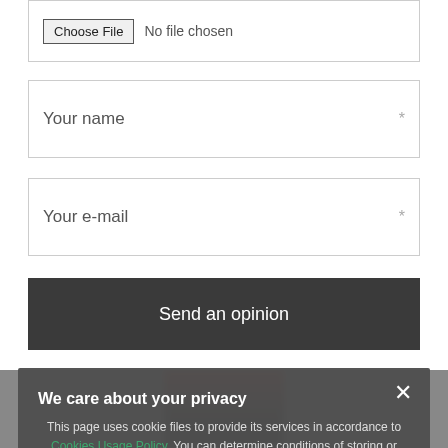[Figure (screenshot): File upload input area with 'Choose File' button and 'No file chosen' text]
Your name *
Your e-mail *
Send an opinion
We care about your privacy
This page uses cookie files to provide its services in accordance to Cookies Usage Policy. You can determine conditions of storing or access to cookie files in your web browser.
Close